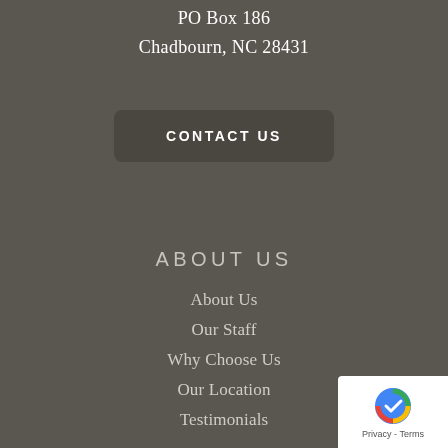PO Box 186
Chadbourn, NC 28431
CONTACT US
ABOUT US
About Us
Our Staff
Why Choose Us
Our Location
Testimonials